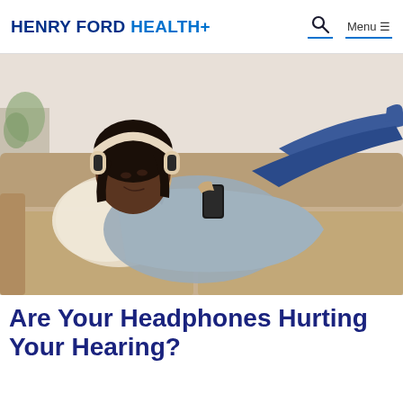HENRY FORD HEALTH
[Figure (photo): A young Black woman lying on a beige couch, wearing white over-ear headphones and a light blue cardigan, holding a smartphone, with eyes closed and relaxed expression, listening to music.]
Are Your Headphones Hurting Your Hearing?